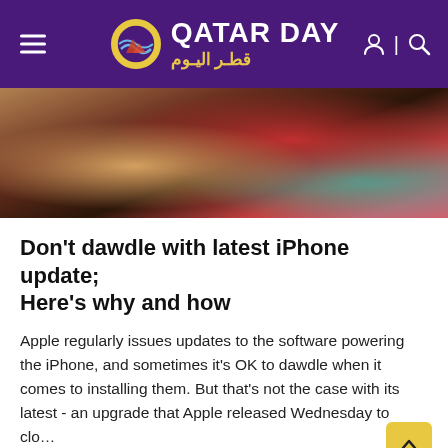QATAR DAY | قطر اليوم
[Figure (photo): Close-up photo of a hand holding an iPhone with app icons visible, placed near a box on a wooden surface]
Don't dawdle with latest iPhone update; Here's why and how
Apple regularly issues updates to the software powering the iPhone, and sometimes it's OK to dawdle when it comes to installing them. But that's not the case with its latest - an upgrade that Apple released Wednesday to clo…
READ MORE
[Figure (photo): Aerial photo of a forested area, partially visible at bottom of page]